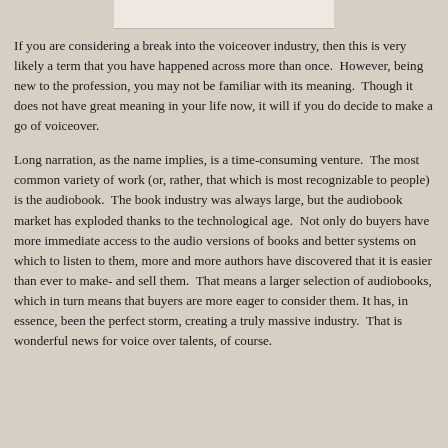[Figure (photo): Partial image of a person at the top of the page, cropped]
If you are considering a break into the voiceover industry, then this is very likely a term that you have happened across more than once.  However, being new to the profession, you may not be familiar with its meaning.  Though it does not have great meaning in your life now, it will if you do decide to make a go of voiceover.
Long narration, as the name implies, is a time-consuming venture.  The most common variety of work (or, rather, that which is most recognizable to people) is the audiobook.  The book industry was always large, but the audiobook market has exploded thanks to the technological age.  Not only do buyers have more immediate access to the audio versions of books and better systems on which to listen to them, more and more authors have discovered that it is easier than ever to make- and sell them.  That means a larger selection of audiobooks, which in turn means that buyers are more eager to consider them. It has, in essence, been the perfect storm, creating a truly massive industry.  That is wonderful news for voice over talents, of course.